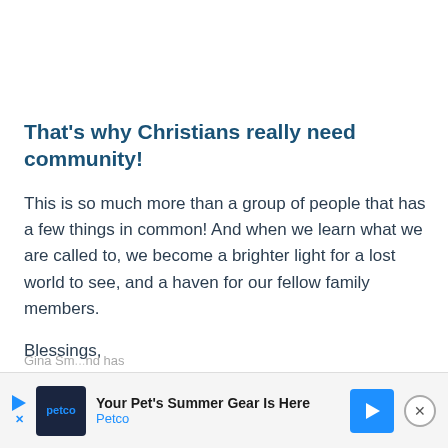That's why Christians really need community!
This is so much more than a group of people that has a few things in common!  And when we learn what we are called to, we become a brighter light for a lost world to see, and a haven for our fellow family members.
Blessings,
Gina
[Figure (photo): Broken/placeholder image labeled 'gina']
Gina Sm... nd has
[Figure (other): Advertisement banner: Petco - Your Pet's Summer Gear Is Here]